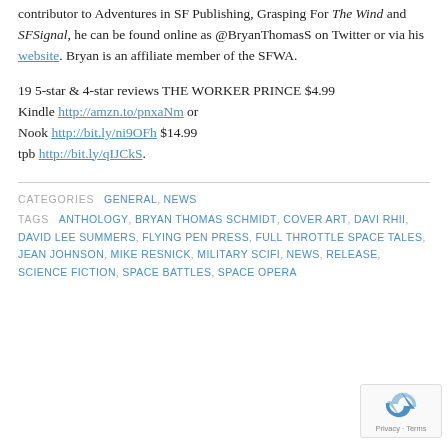contributor to Adventures in SF Publishing, Grasping For The Wind and SFSignal, he can be found online as @BryanThomasS on Twitter or via his website. Bryan is an affiliate member of the SFWA.
19 5-star & 4-star reviews THE WORKER PRINCE $4.99 Kindle http://amzn.to/pnxaNm or Nook http://bit.ly/ni9OFh $14.99 tpb http://bit.ly/qIJCkS.
CATEGORIES  GENERAL, NEWS
TAGS  ANTHOLOGY, BRYAN THOMAS SCHMIDT, COVER ART, DAVI RHII, DAVID LEE SUMMERS, FLYING PEN PRESS, FULL THROTTLE SPACE TALES, JEAN JOHNSON, MIKE RESNICK, MILITARY SCIFI, NEWS, RELEASE, SCIENCE FICTION, SPACE BATTLES, SPACE OPERA